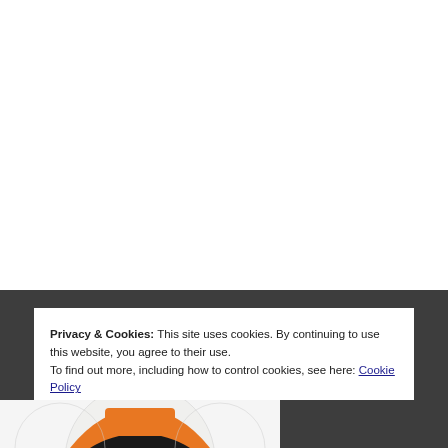Privacy & Cookies: This site uses cookies. By continuing to use this website, you agree to their use.
To find out more, including how to control cookies, see here: Cookie Policy
Close and accept
[Figure (logo): Partial view of a logo with orange and black on white circular background at the bottom of the page]